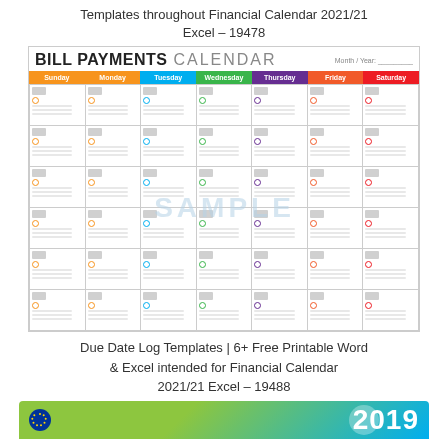Templates throughout Financial Calendar 2021/21 Excel – 19478
[Figure (other): Bill Payments Calendar template with colorful header showing days of the week (Sunday through Saturday) and a grid of 6 rows of calendar cells with checkboxes/dots and a SAMPLE watermark overlay]
Due Date Log Templates | 6+ Free Printable Word & Excel intended for Financial Calendar 2021/21 Excel – 19488
[Figure (other): Bottom banner with green-blue gradient, EU flag circle icon, and year 2019 in large white text]